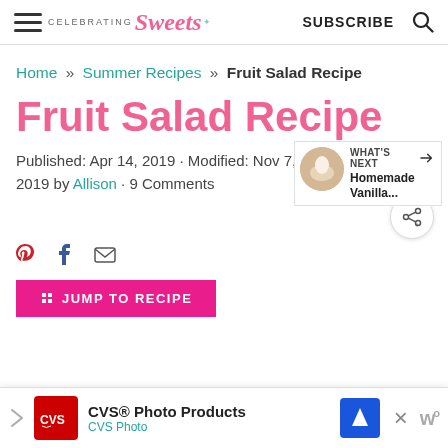CELEBRATING Sweets | SUBSCRIBE
Home » Summer Recipes » Fruit Salad Recipe
Fruit Salad Recipe
Published: Apr 14, 2019 · Modified: Nov 7, 2019 by Allison · 9 Comments
JUMP TO RECIPE
CVS® Photo Products CVSPhoto